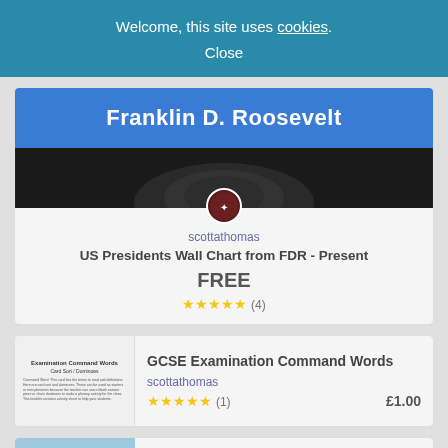Welcome, this site uses cookies. Close
[Figure (screenshot): Franklin D. Roosevelt banner image with blue title bar and black and white photo below]
scottathomas
US Presidents Wall Chart from FDR - Present
FREE
★★★★★ (4)
[Figure (screenshot): Thumbnail of GCSE Examination Command Words card sort / dominoes resource]
GCSE Examination Command Words
scottathomas
★★★★★ (1)
£1.00